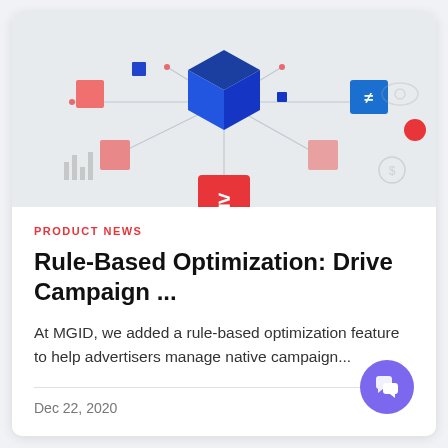[Figure (illustration): Abstract technology illustration with a 3D blue cube in the center connected by lines to various colored square nodes (red, pink, dark blue) on a light grey background. Symbols include a ≠ sign in a blue square, an eye icon, a dollar coin icon, a bar chart icon, and a red circle. A red square with a ≥ symbol is at the bottom center.]
PRODUCT NEWS
Rule-Based Optimization: Drive Campaign ...
At MGID, we added a rule-based optimization feature to help advertisers manage native campaign...
Dec 22, 2020